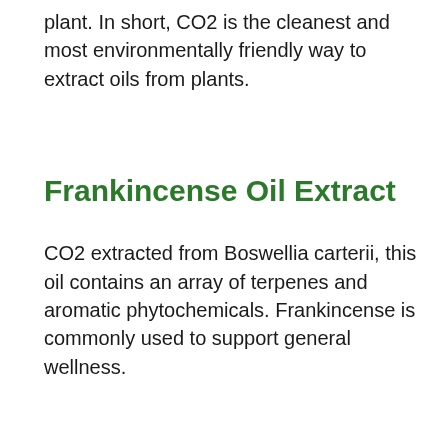plant. In short, CO2 is the cleanest and most environmentally friendly way to extract oils from plants.
Frankincense Oil Extract
CO2 extracted from Boswellia carterii, this oil contains an array of terpenes and aromatic phytochemicals. Frankincense is commonly used to support general wellness.
Black Cumin Seed Oil
The black cumin in Signature Blend is cold-pressed from Nigella sativa seeds. It's also commonly used to support general wellness,